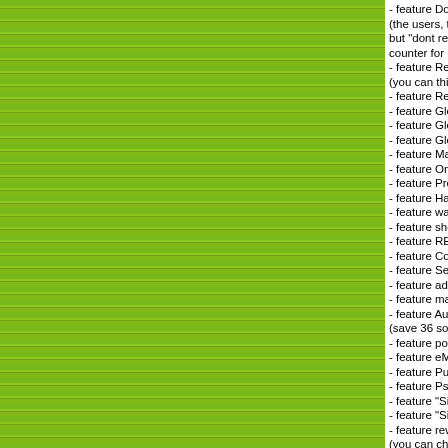[Figure (other): Green striped sidebar on the left side of the page]
- feature Dont reask removed clients from DL-window for 2h (the users, they are from dl-file removed, will be added to "d but "dont reask users" can allways ask you and you will be a counter for how mutch users are in "dont asking list" you ca
- feature ReAsk SRCs after IP Change [by Maella/sivka]
(you can this enable or disable under "sivka - settings")
- feature Release BONUS the same as PowerShare [by sivk
- feature Global Hard Limit Counter - to find under column o
- feature Global Valid Sources Counter - to find under colum
- feature Global DL Sources Counter - to find under column
- feature Manual Raise/Reduce HardLimit at 5% [by sivka]
- feature One Chunk Sharing - One Chunk Visible [by SlugP
- feature Prevent Chunk OverSharing - Hide OSC (0 -> Off)
- feature HashThief Protection [by xrmb/IceCream/Athlazan
- feature warning HashThief User [by sivka]
- feature show downloading time per client under "Remainin
- feature REASK SERVER 4 SOURCES selectable 15...60
- feature Code Improvement for GetScoreRatio() - new algo
- feature See own credits [by VQB]
- feature added counter for error,banned and unknown clien
- feature manual SAVE/LOAD SOURCES [by sivka]
- feature Auto Saved-Sources handling [by enkeyDEV(Ottav
(save 36 sources for 6h and load saved sources only on sta
- feature possiblity to STOP downloading from client [by sivk
- feature eMoogle.de (web search) to search methods [by si
- feature Push Small Files: files with 0 < X < 9,28MB will be
- feature Pseudo Friend Slot for LowID clients [by sivka]
- feature "Sivka - File Defaults" [by sivka]
- feature "Sivka - File(s) Settings" dialog [by sivka]
- feature rewarding only Secure Identified clients [by sivka]
(you can choose if you want to reward only SI client or all cl
- feature WaitingQueue Overflow [by sivka]
(Valid Sources, Friends, Community User and User request
- feature update friends list on add [by InterCeptor]
- feature Defeat 0-filled Part Senders (Idea of xrmb){18.03.0
- feature Support for tag ET_MOD_VERSION 0x55 [by Mae
- feature AntiFake - Bann users, that trying to fake there por
- feature auto reconnect on LowID [by Tarod/sivka]